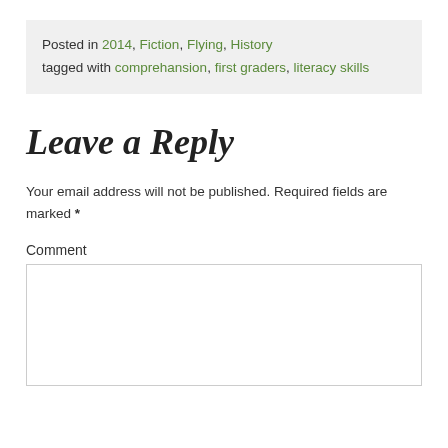Posted in 2014, Fiction, Flying, History tagged with comprehansion, first graders, literacy skills
Leave a Reply
Your email address will not be published. Required fields are marked *
Comment